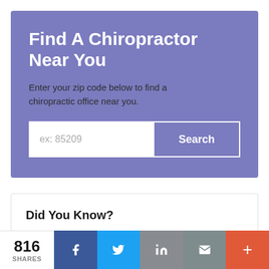Find A Chiropractor Near You
Enter your zip code below to find a chiropractic office near you.
Did You Know?
816 SHARES
[Figure (other): Social share bar with Facebook, Twitter, LinkedIn, Email, and More buttons showing 816 shares]